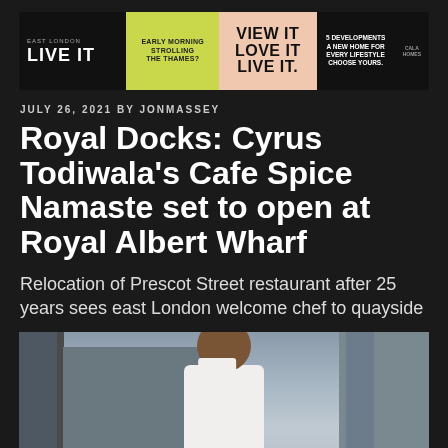[Figure (infographic): East London Live It banner advertisement with multiple sections: black left section with 'EAST LONDON LIVE IT' branding, green section with 'EARLY MORNING STROLLING THE THAMES?' text, pink/peach section with 'VIEW IT LOVE IT LIVE IT' text, dark section with '5 DEVELOPMENTS A NEW HOME FOR EVERY LIFESTYLE CHOOSE YOURS.' text, and a small black section on right.]
JULY 26, 2021 BY JONMASSEY
Royal Docks: Cyrus Todiwala's Cafe Spice Namaste set to open at Royal Albert Wharf
Relocation of Prescot Street restaurant after 25 years sees east London welcome chef to quayside
[Figure (photo): Photograph of Cyrus Todiwala, a chef in white uniform, smiling, photographed outdoors in front of a modern building with glass panels.]